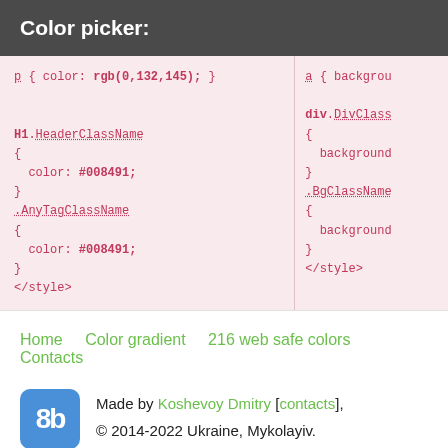Color picker:
p { color: rgb(0,132,145); }

H1.HeaderClassName
{
  color: #008491;
}
.AnyTagClassName
{
  color: #008491;
}
</style>
a { background...

div.DivClass...
{
  background...
}
.BgClassName...
{
  background...
}
</style>
Home   Color gradient   216 web safe colors   Contacts
[Figure (logo): 8b logo in blue rounded square]
Made by Koshevoy Dmitry [contacts],
© 2014-2022 Ukraine, Mykolayiv.